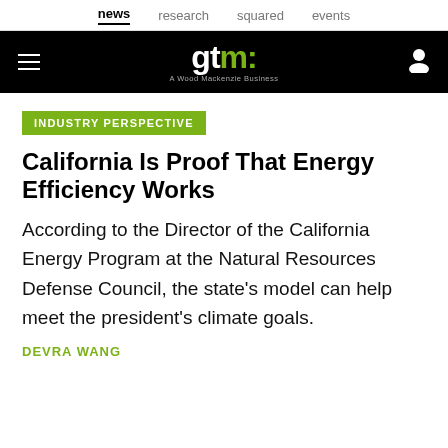news  research  squared  events
[Figure (logo): GTM (Greentech Media) logo — white text on black background with green accent, subtitle 'A Wood Mackenzie Business']
INDUSTRY PERSPECTIVE
California Is Proof That Energy Efficiency Works
According to the Director of the California Energy Program at the Natural Resources Defense Council, the state's model can help meet the president's climate goals.
DEVRA WANG